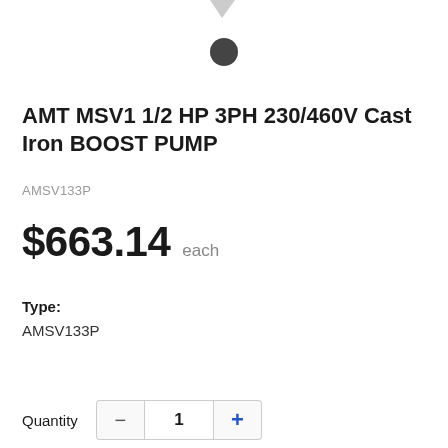[Figure (other): Product image area with a dark circular dot/indicator visible, and a small triangular element at the top]
AMT MSV1 1/2 HP 3PH 230/460V Cast Iron BOOST PUMP
AMSV133P
$663.14 each
Type:
AMSV133P
Quantity — 1 +